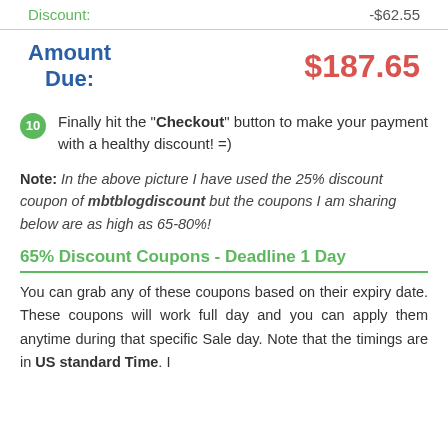|  |  |
| --- | --- |
| Discount: | -$62.55 |
| Amount Due: | $187.65 |
Finally hit the "Checkout" button to make your payment with a healthy discount! =)
Note: In the above picture I have used the 25% discount coupon of mbtblogdiscount but the coupons I am sharing below are as high as 65-80%!
65% Discount Coupons - Deadline 1 Day
You can grab any of these coupons based on their expiry date. These coupons will work full day and you can apply them anytime during that specific Sale day. Note that the timings are in US standard Time. I